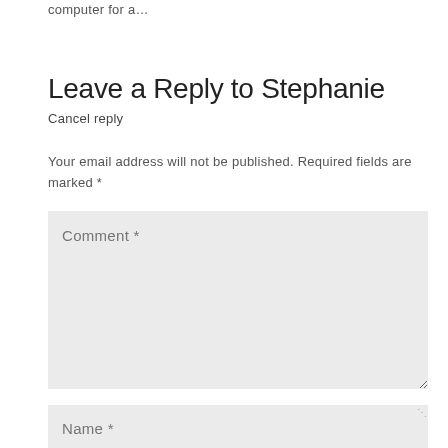computer for a…
Leave a Reply to Stephanie
Cancel reply
Your email address will not be published. Required fields are marked *
[Figure (screenshot): Comment text area form field with placeholder text 'Comment *' and a Name text input field with placeholder text 'Name *']